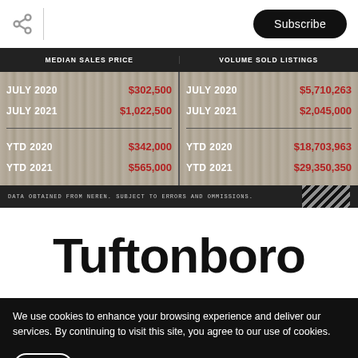Subscribe
|  | MEDIAN SALES PRICE |  | VOLUME SOLD LISTINGS |
| --- | --- | --- | --- |
| JULY 2020 | $302,500 | JULY 2020 | $5,710,263 |
| JULY 2021 | $1,022,500 | JULY 2021 | $2,045,000 |
| YTD 2020 | $342,000 | YTD 2020 | $18,703,963 |
| YTD 2021 | $565,000 | YTD 2021 | $29,350,350 |
DATA OBTAINED FROM NEREN. SUBJECT TO ERRORS AND OMMISSIONS.
Tuftonboro
We use cookies to enhance your browsing experience and deliver our services. By continuing to visit this site, you agree to our use of cookies.